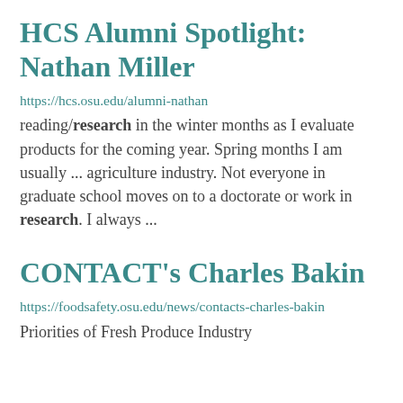HCS Alumni Spotlight: Nathan Miller
https://hcs.osu.edu/alumni-nathan
reading/research in the winter months as I evaluate products for the coming year. Spring months I am usually ... agriculture industry. Not everyone in graduate school moves on to a doctorate or work in research. I always ...
CONTACT's Charles Bakin
https://foodsafety.osu.edu/news/contacts-charles-bakin
Priorities of Fresh Produce Industry